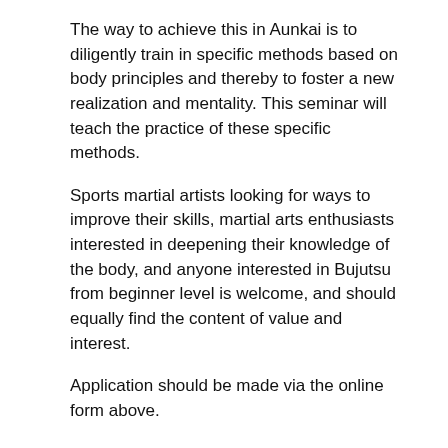The way to achieve this in Aunkai is to diligently train in specific methods based on body principles and thereby to foster a new realization and mentality. This seminar will teach the practice of these specific methods.
Sports martial artists looking for ways to improve their skills, martial arts enthusiasts interested in deepening their knowledge of the body, and anyone interested in Bujutsu from beginner level is welcome, and should equally find the content of value and interest.
Application should be made via the online form above.
Further Information
Participation: aimed at experienced martial arts, beginners very welcome as always.
Clothing/footwear: clothing easy to move around in; indoor shoes (barefoot also OK).